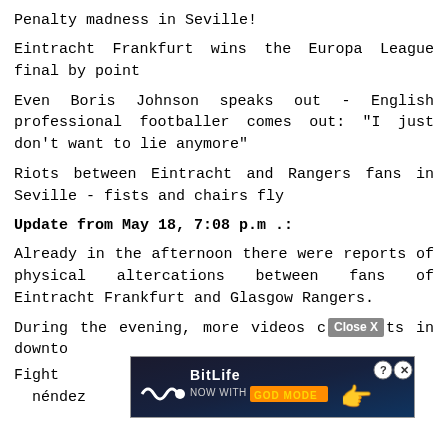Penalty madness in Seville!
Eintracht Frankfurt wins the Europa League final by point
Even Boris Johnson speaks out - English professional footballer comes out: "I just don't want to lie anymore"
Riots between Eintracht and Rangers fans in Seville - fists and chairs fly
Update from May 18, 7:08 p.m .:
Already in the afternoon there were reports of physical altercations between fans of Eintracht Frankfurt and Glasgow Rangers.
During the evening, more videos c[Close X]ts in downto[...]
[Figure (screenshot): BitLife advertisement overlay with 'NOW WITH GOD MODE' text, hand cursor graphic, and close/help icons]
Fight[...] néndez